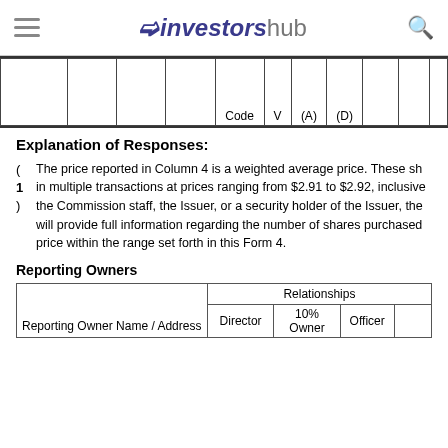investorshub
|  |  |  |  | Code | V | (A) | (D) |  |  |  |
| --- | --- | --- | --- | --- | --- | --- | --- | --- | --- | --- |
|  |
Explanation of Responses:
( The price reported in Column 4 is a weighted average price. These sh
1 in multiple transactions at prices ranging from $2.91 to $2.92, inclusive
) the Commission staff, the Issuer, or a security holder of the Issuer, the will provide full information regarding the number of shares purchased price within the range set forth in this Form 4.
Reporting Owners
| Reporting Owner Name / Address | Relationships |
| --- | --- |
|  | Director | 10% Owner | Officer |  |